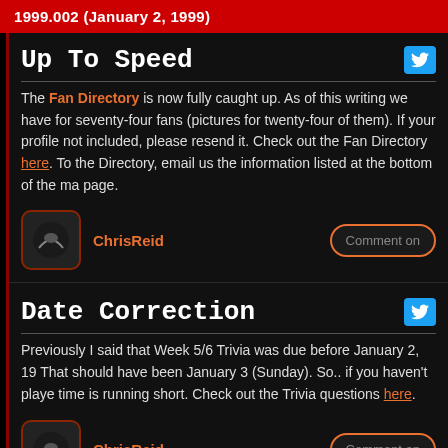1999.002 (January 2, 1999)
Up To Speed
The Fan Directory is now fully caught up. As of this writing we have for seventy-four fans (pictures for twenty-four of them). If your profile not included, please resend it. Check out the Fan Directory here. To the Directory, email us the information listed at the bottom of the ma page.
ChrisReid
Comment on
Date Correction
Previously I said that Week 5/6 Trivia was due before January 2, 19 That should have been January 3 (Sunday). So.. if you haven't playe time is running short. Check out the Trivia questions here.
ChrisReid
Comment on